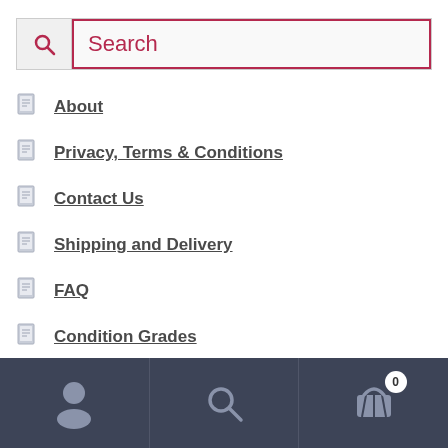[Figure (screenshot): Search bar with magnifying glass icon on left and pink/red bordered input field showing 'Search' placeholder text]
About
Privacy, Terms & Conditions
Contact Us
Shipping and Delivery
FAQ
Condition Grades
Sell Us RPGs
[Figure (screenshot): Dark navy bottom navigation bar with user/account icon, search icon, and shopping cart icon with badge showing 0]